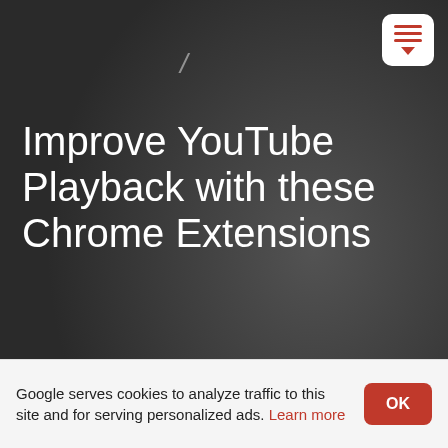[Figure (screenshot): Dark blurred hero background with a diagonal slash mark and a hamburger menu button with red bars and red arrow in the top-right corner]
Improve YouTube Playback with these Chrome Extensions
#featured
#General Tips
TechieDip · 5 min read
Share: Copy link
Google serves cookies to analyze traffic to this site and for serving personalized ads. Learn more
OK